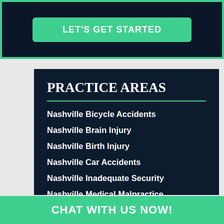[Figure (screenshot): Dark navy button area with green CTA button reading LET'S GET STARTED]
PRACTICE AREAS
Nashville Bicycle Accidents
Nashville Brain Injury
Nashville Birth Injury
Nashville Car Accidents
Nashville Inadequate Security
Nashville Medical Malpractice
Nashville Motorcycle Accident
CHAT WITH US NOW!